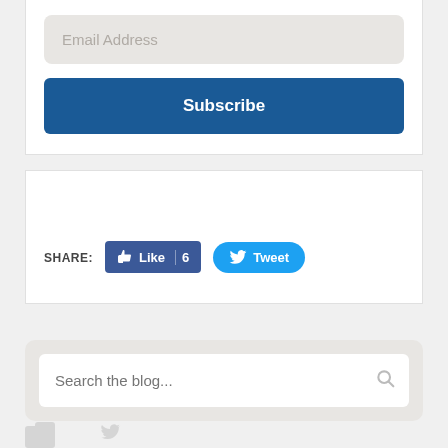Email Address
Subscribe
SHARE:
[Figure (screenshot): Facebook Like button showing thumbs up icon with count of 6]
[Figure (screenshot): Twitter Tweet button with bird icon]
Search the blog...